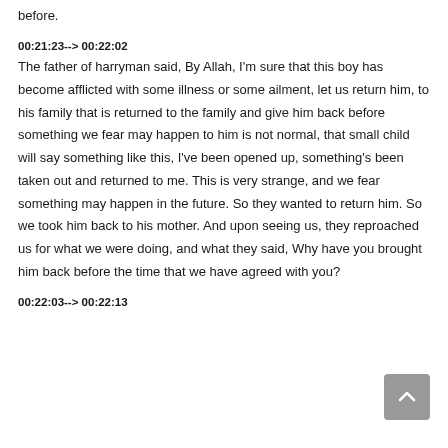before.
00:21:23--> 00:22:02
The father of harryman said, By Allah, I'm sure that this boy has become afflicted with some illness or some ailment, let us return him, to his family that is returned to the family and give him back before something we fear may happen to him is not normal, that small child will say something like this, I've been opened up, something's been taken out and returned to me. This is very strange, and we fear something may happen in the future. So they wanted to return him. So we took him back to his mother. And upon seeing us, they reproached us for what we were doing, and what they said, Why have you brought him back before the time that we have agreed with you?
00:22:03--> 00:22:13